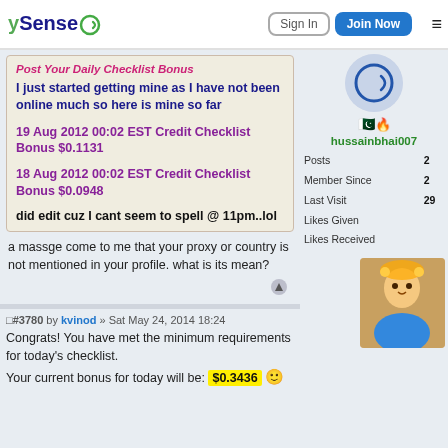ySense - Sign In | Join Now
Post Your Daily Checklist Bonus
I just started getting mine as I have not been online much so here is mine so far
19 Aug 2012 00:02 EST Credit Checklist Bonus $0.1131
18 Aug 2012 00:02 EST Credit Checklist Bonus $0.0948
did edit cuz I cant seem to spell @ 11pm..lol
a massge come to me that your proxy or country is not mentioned in your profile. what is its mean?
#3780 by kvinod » Sat May 24, 2014 18:24
Congrats! You have met the minimum requirements for today's checklist.
Your current bonus for today will be: $0.3436